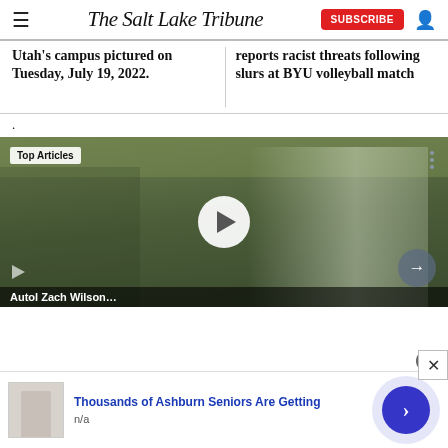The Salt Lake Tribune
Utah's campus pictured on Tuesday, July 19, 2022.
reports racist threats following slurs at BYU volleyball match
.
[Figure (screenshot): Video player showing a football quarterback in green/white uniform with 'Top Articles' badge and play button overlay. Bottom shows partial text caption.]
Thousands of Ashburn Seniors Are Getting
n/a